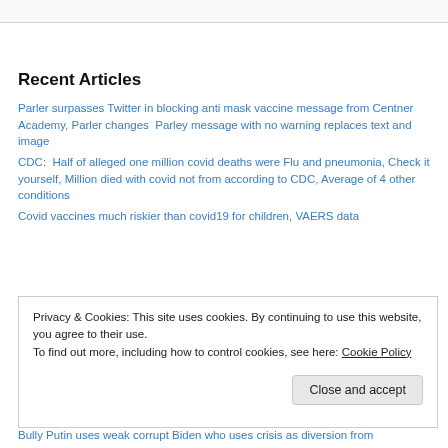Recent Articles
Parler surpasses Twitter in blocking anti mask vaccine message from Centner Academy, Parler changes  Parley message with no warning replaces text and image
CDC:  Half of alleged one million covid deaths were Flu and pneumonia, Check it yourself, Million died with covid not from according to CDC, Average of 4 other conditions
Covid vaccines much riskier than covid19 for children, VAERS data
Privacy & Cookies: This site uses cookies. By continuing to use this website, you agree to their use.
To find out more, including how to control cookies, see here: Cookie Policy
Close and accept
Bully Putin uses weak corrupt Biden who uses crisis as diversion from